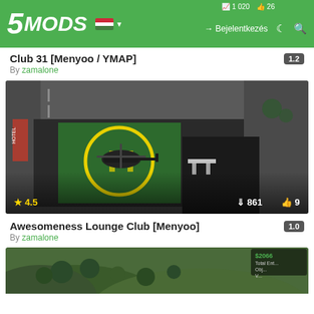5MODS — Bejelentkezés
Club 31 [Menyoo / YMAP] 1.2
By zamalone
[Figure (screenshot): Aerial view of a rooftop helipad with a helicopter, yellow circle landing marker on green surface, surrounding city streets and buildings visible. Stats overlay: 4.5 stars, 861 downloads, 9 likes.]
Awesomeness Lounge Club [Menyoo] 1.0
By zamalone
[Figure (screenshot): Partial aerial view of a green hillside/nature area with HUD showing $2066 and mission text.]